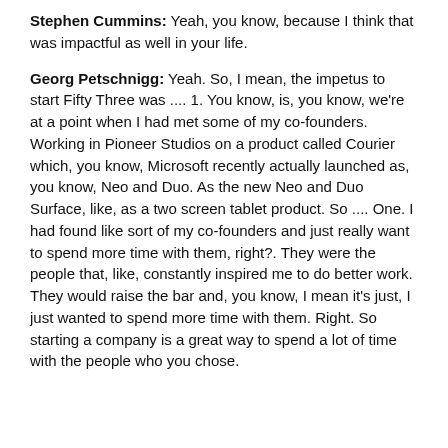Stephen Cummins: Yeah, you know, because I think that was impactful as well in your life.
Georg Petschnigg: Yeah. So, I mean, the impetus to start Fifty Three was .... 1. You know, is, you know, we're at a point when I had met some of my co-founders. Working in Pioneer Studios on a product called Courier which, you know, Microsoft recently actually launched as, you know, Neo and Duo. As the new Neo and Duo Surface, like, as a two screen tablet product. So .... One. I had found like sort of my co-founders and just really want to spend more time with them, right?. They were the people that, like, constantly inspired me to do better work. They would raise the bar and, you know, I mean it's just, I just wanted to spend more time with them. Right. So starting a company is a great way to spend a lot of time with the people who you chose.